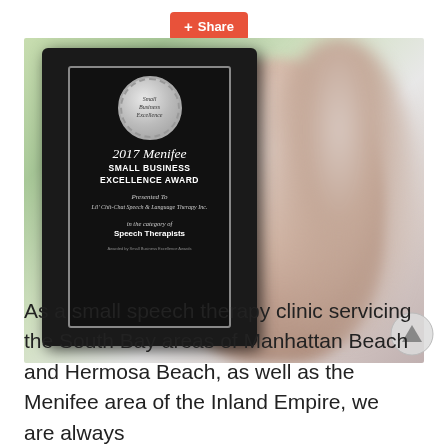[Figure (screenshot): Orange Share button with plus icon and 'Share' text]
[Figure (photo): Photo of a 2017 Menifee Small Business Excellence Award plaque presented to Lil' Chit-Chat Speech & Language Therapy Inc. in the category of Speech Therapists, with blurred people in the background]
As a small speech therapy clinic servicing the South Bay areas of Manhattan Beach and Hermosa Beach, as well as the Menifee area of the Inland Empire, we are always